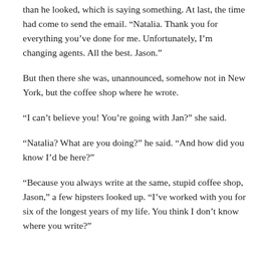than he looked, which is saying something. At last, the time had come to send the email. “Natalia. Thank you for everything you’ve done for me. Unfortunately, I’m changing agents. All the best. Jason.”
But then there she was, unannounced, somehow not in New York, but the coffee shop where he wrote.
“I can’t believe you! You’re going with Jan?” she said.
“Natalia? What are you doing?” he said. “And how did you know I’d be here?”
“Because you always write at the same, stupid coffee shop, Jason,” a few hipsters looked up. “I’ve worked with you for six of the longest years of my life. You think I don’t know where you write?”